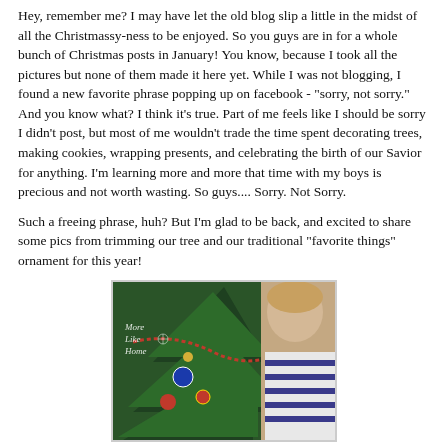Hey, remember me? I may have let the old blog slip a little in the midst of all the Christmassy-ness to be enjoyed. So you guys are in for a whole bunch of Christmas posts in January! You know, because I took all the pictures but none of them made it here yet. While I was not blogging, I found a new favorite phrase popping up on facebook - "sorry, not sorry." And you know what? I think it's true. Part of me feels like I should be sorry I didn't post, but most of me wouldn't trade the time spent decorating trees, making cookies, wrapping presents, and celebrating the birth of our Savior for anything. I'm learning more and more that time with my boys is precious and not worth wasting. So guys.... Sorry. Not Sorry.
Such a freeing phrase, huh? But I'm glad to be back, and excited to share some pics from trimming our tree and our traditional "favorite things" ornament for this year!
[Figure (photo): A young child viewed from behind, reaching toward a decorated Christmas tree with ornaments and a red bead garland. A watermark reads 'More Like Home' in the upper left corner.]